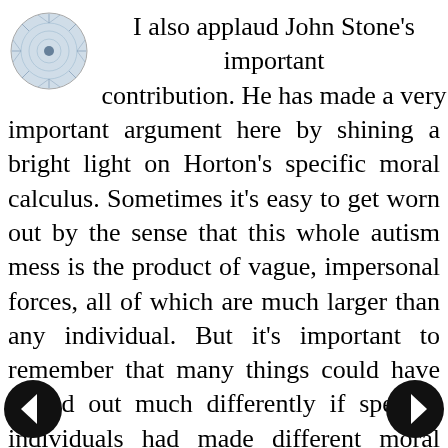[Figure (illustration): Small circular avatar/profile image with radiating pattern, positioned top-left]
I also applaud John Stone's important contribution. He has made a very important argument here by shining a bright light on Horton's specific moral calculus. Sometimes it's easy to get worn out by the sense that this whole autism mess is the product of vague, impersonal forces, all of which are much larger than any individual. But it's important to remember that many things could have turned out much differently if specific individuals had made different moral choices. Andy Wakefield made, and stuck to, a clear moral choice to defend a principled scientific position. Richard Horton made a good decision to publish an article he knew would be controversial, but when the pressure became larger than he had anticipated, he made a cynical and self-interested decision to
[Figure (illustration): Left navigation arrow button (black circle with white left-pointing arrow)]
[Figure (illustration): Right navigation arrow button (black circle with white right-pointing arrow)]